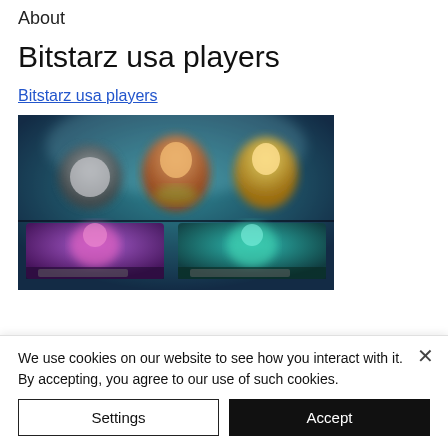About
Bitstarz usa players
Bitstarz usa players
[Figure (screenshot): Screenshot of Bitstarz online casino game lobby showing colorful game tiles with various slot game characters on a dark background.]
We use cookies on our website to see how you interact with it. By accepting, you agree to our use of such cookies.
Settings
Accept